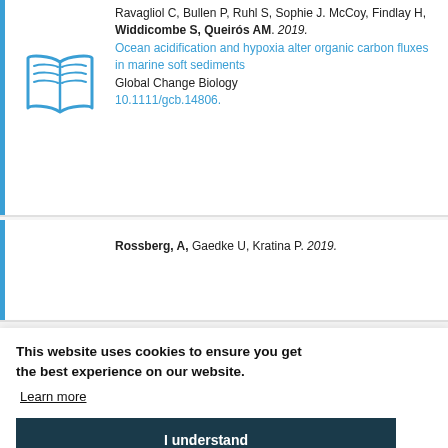Ravagliol C, Bullen P, Ruhl S, Sophie J. McCoy, Findlay H, Widdicombe S, Queirós AM. 2019. Ocean acidification and hypoxia alter organic carbon fluxes in marine soft sediments. Global Change Biology. 10.1111/gcb.14806.
Rossberg, A, Gaedke U, Kratina P. 2019.
This website uses cookies to ensure you get the best experience on our website.
Learn more
I understand
Fu CH, Travers, Trolet M, Velon l, Cruse...